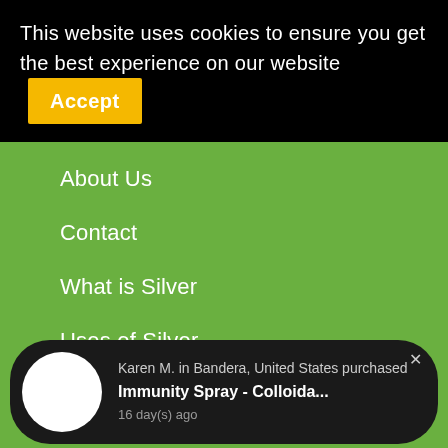This website uses cookies to ensure you get the best experience on our website  Accept
About Us
Contact
What is Silver
Uses of Silver
Health Blog
[Figure (other): Pop-up notification: Karen M. in Bandera, United States purchased Immunity Spray - Colloida... 16 day(s) ago]
Privacy Policy